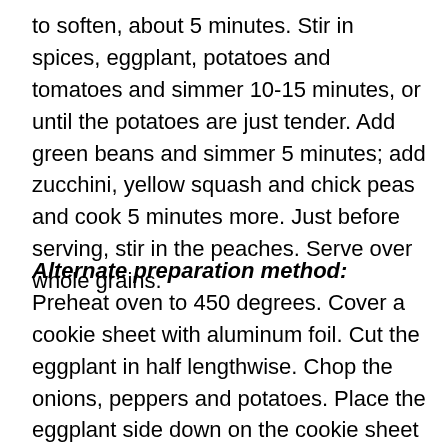to soften, about 5 minutes. Stir in spices, eggplant, potatoes and tomatoes and simmer 10-15 minutes, or until the potatoes are just tender. Add green beans and simmer 5 minutes; add zucchini, yellow squash and chick peas and cook 5 minutes more. Just before serving, stir in the peaches. Serve over whole grains.
Alternate preparation method: Preheat oven to 450 degrees. Cover a cookie sheet with aluminum foil. Cut the eggplant in half lengthwise. Chop the onions, peppers and potatoes. Place the eggplant side down on the cookie sheet and arrange the onions, peppers and potatoes in a single layer. Sprinkle with a little olive oil if desired. Roast the vegetables for 30-45 minutes or until soft and browned, but not charred. Chop up the eggplant,